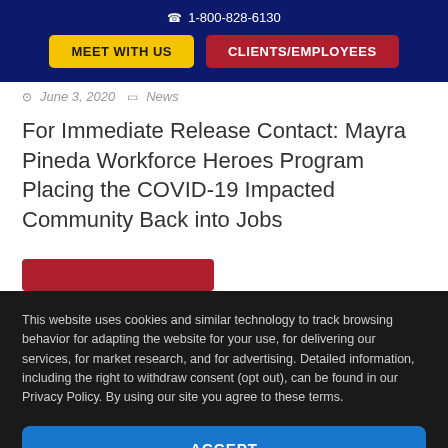☎ 1-800-828-6130
MEET WITH US | CLIENTS/EMPLOYEES
June 3, 2020  News
For Immediate Release Contact: Mayra Pineda Workforce Heroes Program Placing the COVID-19 Impacted Community Back into Jobs
This website uses cookies and similar technology to track browsing behavior for adapting the website for your use, for delivering our services, for market research, and for advertising. Detailed information, including the right to withdraw consent (opt out), can be found in our Privacy Policy. By using our site you agree to these terms.
ACCEPT